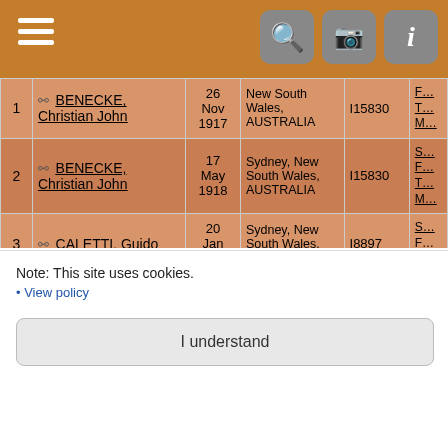[Figure (screenshot): Mobile app navigation bar with hamburger menu on left and search, camera, info icon buttons on right, brown/orange background]
| # | Name | Date | Place | ID | Links |
| --- | --- | --- | --- | --- | --- |
| 1 | BENECKE, Christian John | 26 Nov 1917 | New South Wales, AUSTRALIA | I15830 | F… T… M… |
| 2 | BENECKE, Christian John | 17 May 1918 | Sydney, New South Wales, AUSTRALIA | I15830 | S… F… T… M… |
| 3 | CALETTI, Guido | 20 Jan 1930 | Sydney, New South Wales, AUSTRALIA | I8897 | S… F… T… |
| 4 | CALETTI, Guido | 26 Aug 1937 | Sydney, New South Wales, AUSTRALIA | I8897 | S… F… T… |
| 5 | COULTON, Charles Frederick | 3 Sep 1915 | Sydney, New South Wales, | I3549 | S… F… T… |
Note: This site uses cookies.
• View policy
I understand